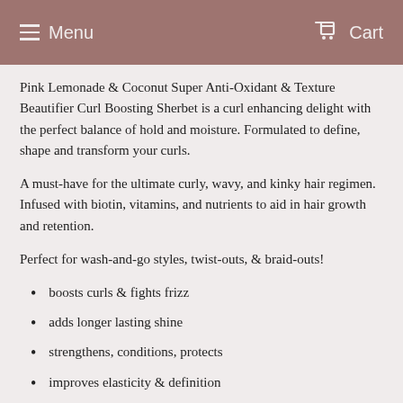Menu  Cart
Pink Lemonade & Coconut Super Anti-Oxidant & Texture Beautifier Curl Boosting Sherbet is a curl enhancing delight with the perfect balance of hold and moisture. Formulated to define, shape and transform your curls.
A must-have for the ultimate curly, wavy, and kinky hair regimen. Infused with biotin, vitamins, and nutrients to aid in hair growth and retention.
Perfect for wash-and-go styles, twist-outs, & braid-outs!
boosts curls & fights frizz
adds longer lasting shine
strengthens, conditions, protects
improves elasticity & definition